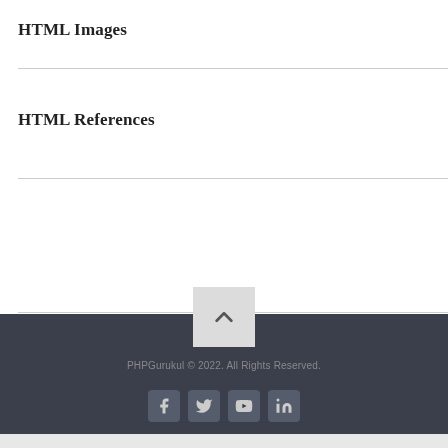HTML Images
HTML References
[Figure (other): Hamburger menu icon (three horizontal lines) in the top-right area of a navigation bar]
[Figure (other): Scroll-to-top button with upward chevron arrow, overlapping the dark footer area]
PHPGurukul © 2022. All Rights Reserved.
[Figure (other): Social media icons: Facebook, Twitter, YouTube, LinkedIn]